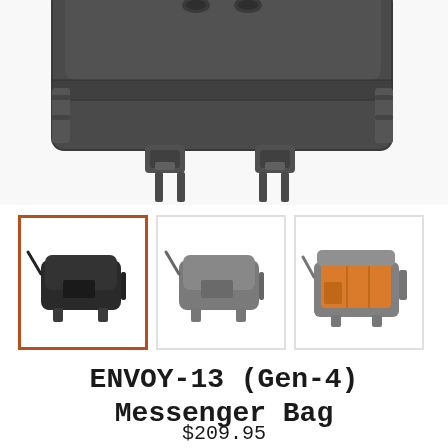[Figure (photo): Close-up top view of a dark gray/black tactical messenger bag showing straps, buckles, and flap detail]
[Figure (photo): Three thumbnail product images of the ENVOY-13 Messenger Bag: left (black, selected with orange border), center (gray), right (open/interior view with orange lining)]
ENVOY-13 (Gen-4) Messenger Bag
$209.95